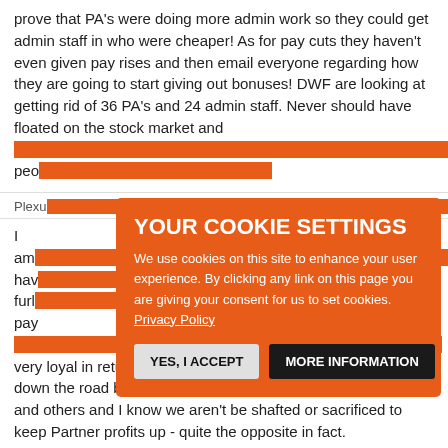prove that PA's were doing more admin work so they could get admin staff in who were cheaper! As for pay cuts they haven't even given pay rises and then email everyone regarding how they are going to start giving out bonuses! DWF are looking at getting rid of 36 PA's and 24 admin staff. Never should have floated on the stock market and [obscured] their people
Plexus [obscured]
I am [obscured] and have [obscured] furloughed [obscured] a pay [obscured] very loyal in return. Suspect some tough decisions might be down the road but I can fault the firm's efforts to support me and others and I know we aren't be shafted or sacrificed to keep Partner profits up - quite the opposite in fact.
[Figure (screenshot): Cookie consent overlay on orange background with title 'YOUR COOKIE SETTINGS', explanatory text about cookie usage, Privacy Policy link, and two buttons: 'YES, I ACCEPT' and 'MORE INFORMATION']
Ex DWF 12 September 20 12:22